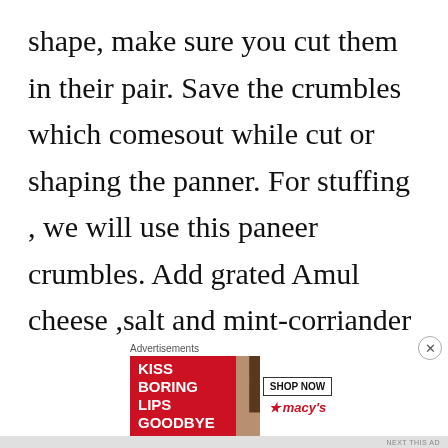shape, make sure you cut them in their pair. Save the crumbles which comesout while cut or shaping the panner. For stuffing , we will use this paneer crumbles. Add grated Amul cheese ,salt and mint-corriander chutney. Mix well and fill in between two
[Figure (other): Advertisement banner for Macy's lipstick product. Red background with text 'KISS BORING LIPS GOODBYE', a woman's face showing red lips in center, and 'SHOP NOW' button with Macy's star logo on right side.]